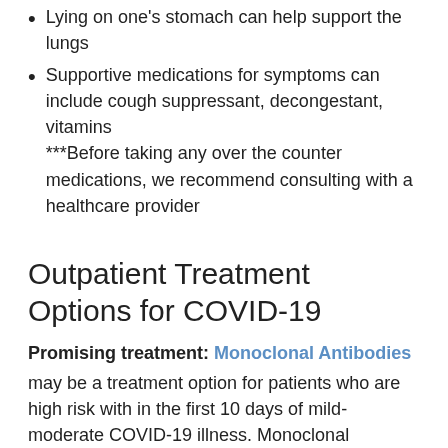Lying on one's stomach can help support the lungs
Supportive medications for symptoms can include cough suppressant, decongestant, vitamins ***Before taking any over the counter medications, we recommend consulting with a healthcare provider
Outpatient Treatment Options for COVID-19
Promising treatment: Monoclonal Antibodies
may be a treatment option for patients who are high risk with in the first 10 days of mild-moderate COVID-19 illness. Monoclonal Antibodies have been shown to help a small percentage of people stay out of the hospital. For more information, or to see if you are